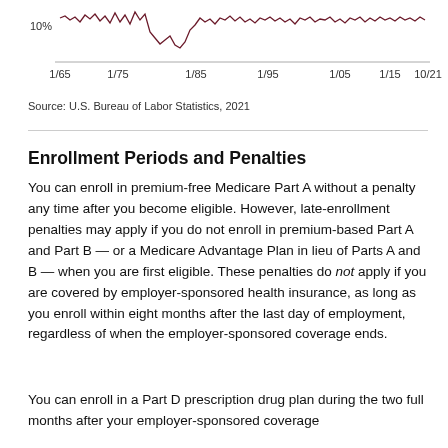[Figure (continuous-plot): Bottom portion of a line chart showing data from 1/65 to 10/21, with x-axis labels 1/65, 1/75, 1/85, 1/95, 1/05, 1/15, 10/21. A y-axis label of 10% is visible. The line is jagged/volatile and colored dark red/maroon.]
Source: U.S. Bureau of Labor Statistics, 2021
Enrollment Periods and Penalties
You can enroll in premium-free Medicare Part A without a penalty any time after you become eligible. However, late-enrollment penalties may apply if you do not enroll in premium-based Part A and Part B — or a Medicare Advantage Plan in lieu of Parts A and B — when you are first eligible. These penalties do not apply if you are covered by employer-sponsored health insurance, as long as you enroll within eight months after the last day of employment, regardless of when the employer-sponsored coverage ends.
You can enroll in a Part D prescription drug plan during the two full months after your employer-sponsored coverage